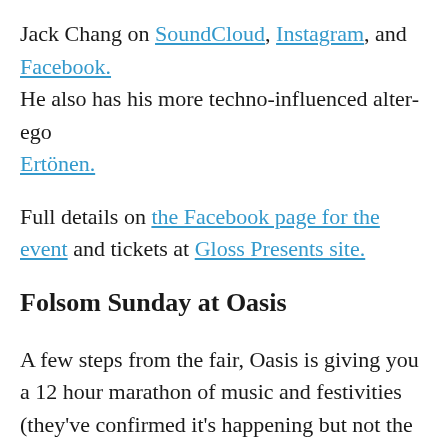Jack Chang on SoundCloud, Instagram, and Facebook. He also has his more techno-influenced alter-ego Ertönen.
Full details on the Facebook page for the event and tickets at Gloss Presents site.
Folsom Sunday at Oasis
A few steps from the fair, Oasis is giving you a 12 hour marathon of music and festivities (they've confirmed it's happening but not the DJs yet).
Oasis is a fantastic gay-owned venue founded by drag